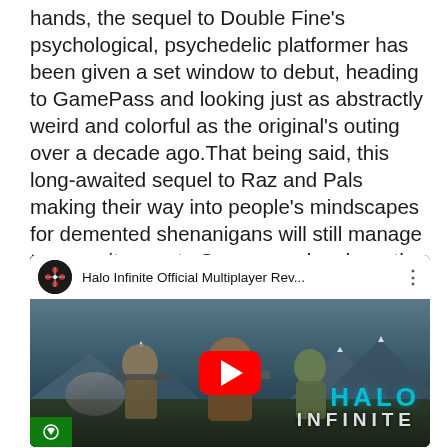hands, the sequel to Double Fine's psychological, psychedelic platformer has been given a set window to debut, heading to GamePass and looking just as abstractly weird and colorful as the original's outing over a decade ago.That being said, this long-awaited sequel to Raz and Pals making their way into people's mindscapes for demented shenanigans will still manage to worm its way to Sony consoles down the pipeline, much to my (and many long-time fans') relief.
[Figure (screenshot): YouTube video thumbnail for 'Halo Infinite Official Multiplayer Rev...' showing armored Halo Infinite soldiers in a landscape with mountains, a red YouTube play button in the center, HALO INFINITE logo in cyan at bottom right, Xbox logo at bottom left, and a channel icon in the top bar.]